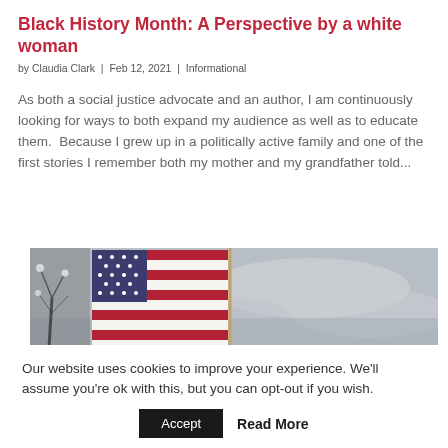Black History Month: A Perspective by a white woman
by Claudia Clark | Feb 12, 2021 | Informational
As both a social justice advocate and an author, I am continuously looking for ways to both expand my audience as well as to educate them.  Because I grew up in a politically active family and one of the first stories I remember both my mother and my grandfather told...
[Figure (photo): American flag against a grey overcast sky with bare winter trees in the background]
Our website uses cookies to improve your experience. We'll assume you're ok with this, but you can opt-out if you wish.
Accept   Read More